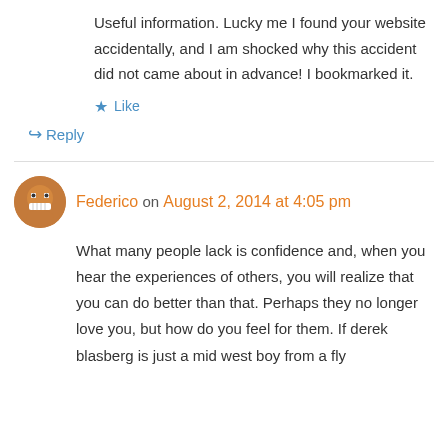Useful information. Lucky me I found your website accidentally, and I am shocked why this accident did not came about in advance! I bookmarked it.
★ Like
↪ Reply
Federico on August 2, 2014 at 4:05 pm
What many people lack is confidence and, when you hear the experiences of others, you will realize that you can do better than that. Perhaps they no longer love you, but how do you feel for them. If derek blasberg is just a mid west boy from a fly